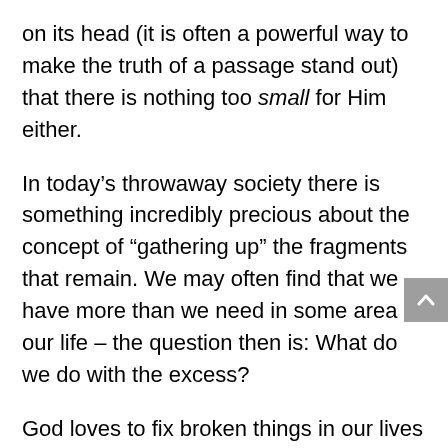on its head (it is often a powerful way to make the truth of a passage stand out) that there is nothing too small for Him either.
In today's throwaway society there is something incredibly precious about the concept of "gathering up" the fragments that remain. We may often find that we have more than we need in some area of our life – the question then is: What do we do with the excess?
God loves to fix broken things in our lives and relationships. On a practical level